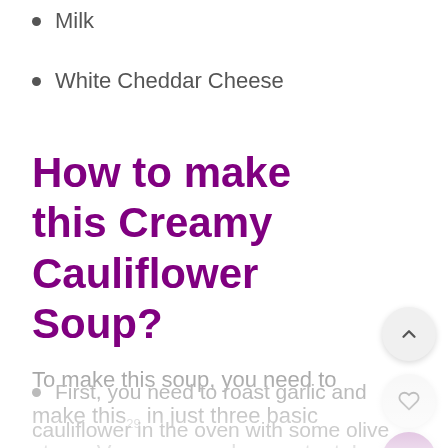Milk
White Cheddar Cheese
How to make this Creamy Cauliflower Soup?
To make this soup, you need to make this29 in just three basic steps. Very easy and super-tasty!
First, you need to roast garlic and
cauliflower in the oven with some olive